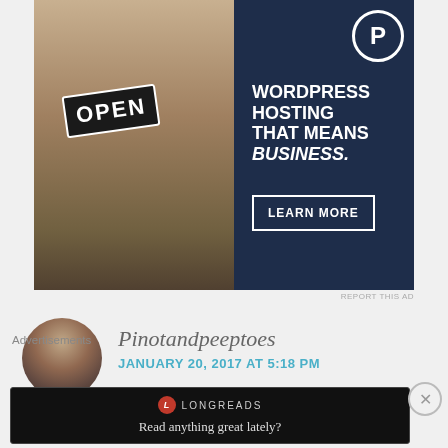[Figure (photo): WordPress hosting advertisement featuring a woman holding an OPEN sign, with dark navy blue panel on the right showing 'WORDPRESS HOSTING THAT MEANS BUSINESS.' and a LEARN MORE button]
REPORT THIS AD
[Figure (photo): Circular avatar photo of a woman with dark hair looking upward]
Pinotandpeeptoes
JANUARY 20, 2017 AT 5:18 PM
Advertisements
[Figure (screenshot): Longreads advertisement bar with logo and text 'Read anything great lately?']